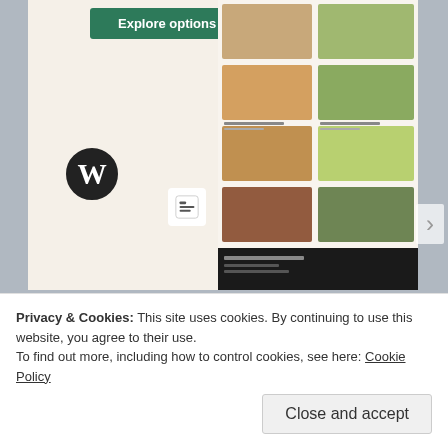[Figure (screenshot): Website builder advertisement screenshot showing a 'Explore options' green button, a WordPress logo, a Squarespace-like icon, and food app/menu screenshots on the right side]
David Ebright
Licensed in PA with Berkshire Hathaway HomeServices Homesale Realty
102 A Fairview Circle, Lebanon, PA 17042
Mobile: 717-884-6313
Office: 717-279-6222
EMAIL
Privacy & Cookies: This site uses cookies. By continuing to use this website, you agree to their use.
To find out more, including how to control cookies, see here: Cookie Policy
Close and accept